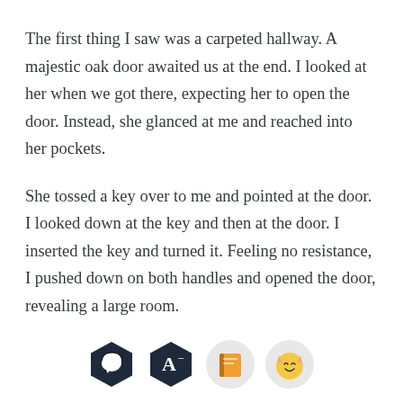The first thing I saw was a carpeted hallway. A majestic oak door awaited us at the end. I looked at her when we got there, expecting her to open the door. Instead, she glanced at me and reached into her pockets.
She tossed a key over to me and pointed at the door. I looked down at the key and then at the door. I inserted the key and turned it. Feeling no resistance, I pushed down on both handles and opened the door, revealing a large room.
[Figure (illustration): Four app icons in a row: a dark navy hexagon with a speech bubble (chat icon), a dark navy hexagon with letter A and minus superscript (font/text icon), a light gray circle with an orange book icon, and a light gray circle with a smiling cat emoji face.]